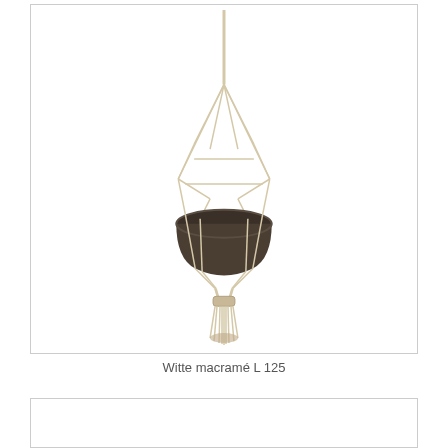[Figure (photo): A white macramé plant hanger with a dark bowl/pot suspended in the middle, with decorative knotted cords forming a teardrop shape above and a tassel hanging below. The item hangs against a white background.]
Witte macramé L 125
[Figure (photo): Partial view of another product image, mostly white/blank, cut off at the bottom of the page.]